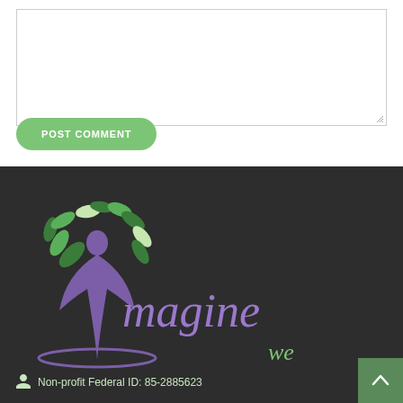[Figure (other): Empty comment textarea input box with resize handle at bottom right]
POST COMMENT
[Figure (logo): Imagine Well Being logo — a purple figure with green leaves forming a tree, with the text 'imagine well being' in purple and green on a dark background]
Non-profit Federal ID: 85-2885623